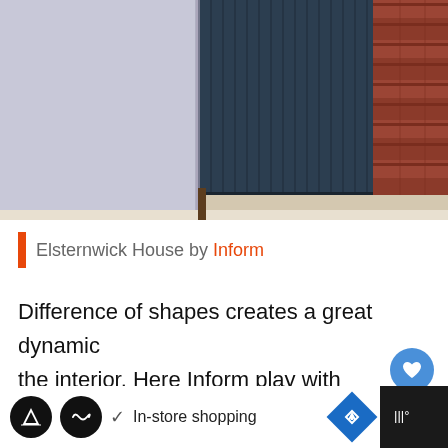[Figure (photo): Interior architectural photo showing a dark navy/charcoal vertical-panel door or partition beside light grey panels and a red brick wall, with light wood flooring visible]
Elsternwick House by Inform
Difference of shapes creates a great dynamic the interior. Here Inform play with vertical lines rectangles of bricks, and spherical forms of a dis
In-store shopping